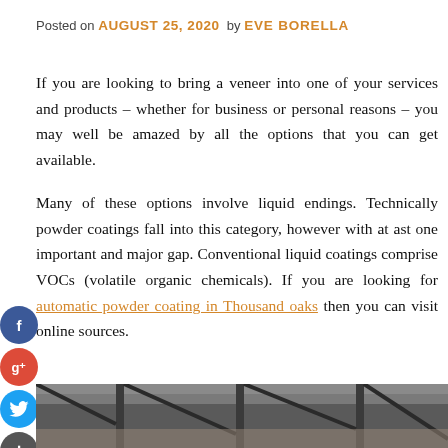Posted on AUGUST 25, 2020 by EVE BORELLA
If you are looking to bring a veneer into one of your services and products – whether for business or personal reasons – you may well be amazed by all the options that you can get available.
Many of these options involve liquid endings. Technically powder coatings fall into this category, however with at ast one important and major gap. Conventional liquid coatings comprise VOCs (volatile organic chemicals). If you are looking for automatic powder coating in Thousand oaks then you can visit online sources.
[Figure (photo): Industrial ceiling or interior photo, dark tones, partially visible at bottom of page]